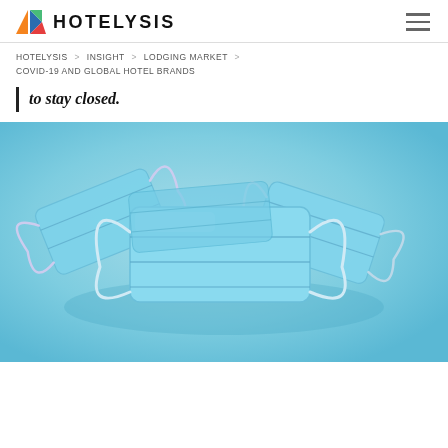HOTELYSIS
HOTELYSIS > INSIGHT > LODGING MARKET > COVID-19 AND GLOBAL HOTEL BRANDS
to stay closed.
[Figure (photo): Photo of multiple blue surgical face masks stacked on a light blue background]